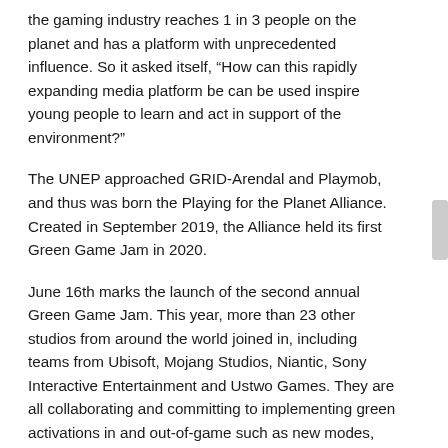the gaming industry reaches 1 in 3 people on the planet and has a platform with unprecedented influence. So it asked itself, “How can this rapidly expanding media platform be can be used inspire young people to learn and act in support of the environment?”
The UNEP approached GRID-Arendal and Playmob, and thus was born the Playing for the Planet Alliance. Created in September 2019, the Alliance held its first Green Game Jam in 2020.
June 16th marks the launch of the second annual Green Game Jam. This year, more than 23 other studios from around the world joined in, including teams from Ubisoft, Mojang Studios, Niantic, Sony Interactive Entertainment and Ustwo Games. They are all collaborating and committing to implementing green activations in and out-of-game such as new modes, maps, themed events, storylines and messaging. Studios have been working on this since earlier this year.